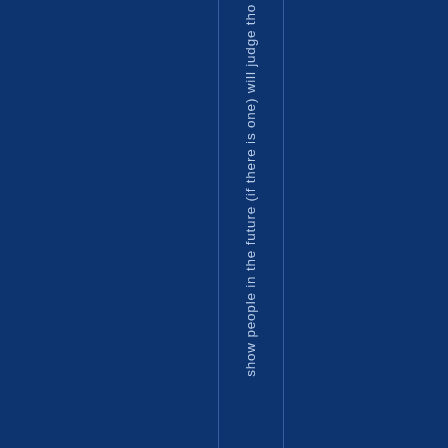show people in the future (if there is one) will judge tho